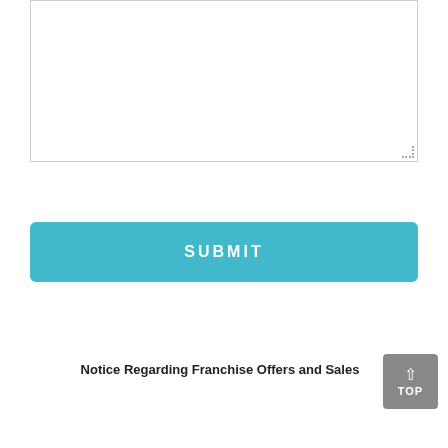[Figure (screenshot): Textarea form input box with a resize handle in the bottom-right corner]
SUBMIT
Notice Regarding Franchise Offers and Sales